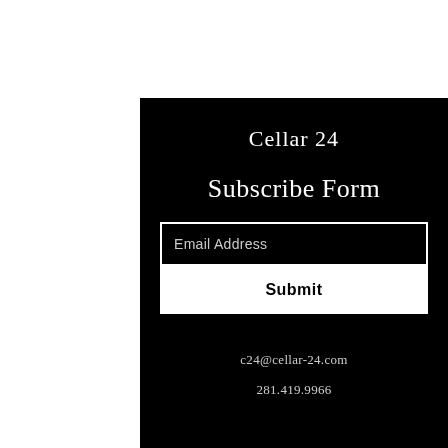Cellar 24
Subscribe Form
Email Address
Submit
c24@cellar-24.com
281.419.9966